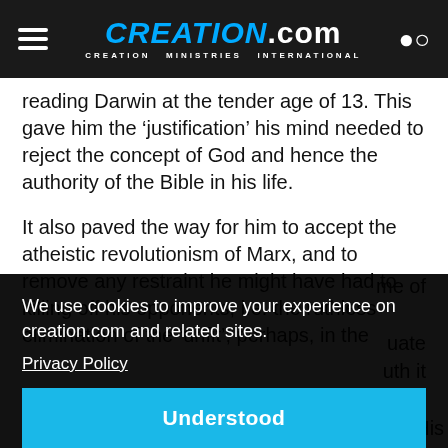CREATION.com — CREATION MINISTRIES INTERNATIONAL
reading Darwin at the tender age of 13. This gave him the 'justification' his mind needed to reject the concept of God and hence the authority of the Bible in his life.
It also paved the way for him to accept the atheistic revolutionism of Marx, and to remove any restraint he might have had to killing off his opponents, i.e. the ruthless elimination of the 'unfit'; perhaps, in the
...me of
...uate ...uth it ...our of
its teachers. Then, having rejected God and His Word
We use cookies to improve your experience on creation.com and related sites.
Privacy Policy
Understood